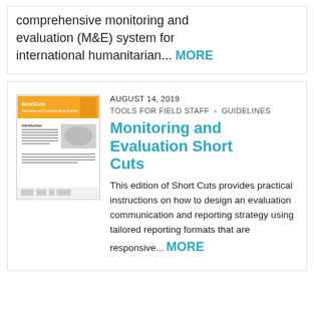comprehensive monitoring and evaluation (M&E) system for international humanitarian... MORE
[Figure (illustration): Thumbnail of Short Cuts publication cover with orange header and images of hands]
AUGUST 14, 2019
TOOLS FOR FIELD STAFF › GUIDELINES
Monitoring and Evaluation Short Cuts
This edition of Short Cuts provides practical instructions on how to design an evaluation communication and reporting strategy using tailored reporting formats that are responsive... MORE